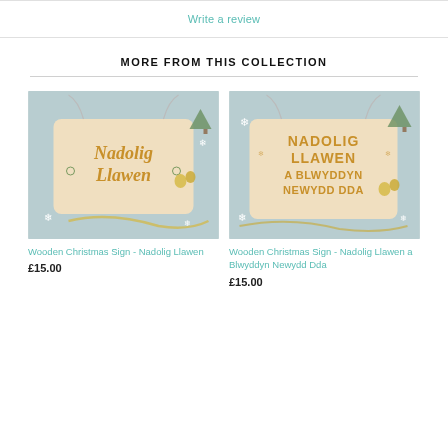Write a review
MORE FROM THIS COLLECTION
[Figure (photo): Wooden Christmas Sign - Nadolig Llawen: wooden plaque with script text on light blue background with snowflakes and pine trees]
Wooden Christmas Sign - Nadolig Llawen
£15.00
[Figure (photo): Wooden Christmas Sign - Nadolig Llawen a Blwyddyn Newydd Dda: wooden plaque with block text on light blue background with snowflakes and pine trees]
Wooden Christmas Sign - Nadolig Llawen a Blwyddyn Newydd Dda
£15.00